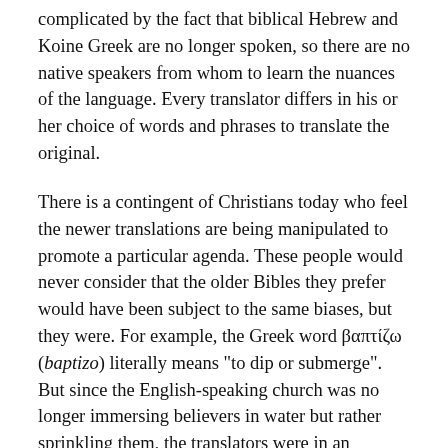complicated by the fact that biblical Hebrew and Koine Greek are no longer spoken, so there are no native speakers from whom to learn the nuances of the language. Every translator differs in his or her choice of words and phrases to translate the original.
There is a contingent of Christians today who feel the newer translations are being manipulated to promote a particular agenda. These people would never consider that the older Bibles they prefer would have been subject to the same biases, but they were. For example, the Greek word βαπτίζω (baptizo) literally means "to dip or submerge". But since the English-speaking church was no longer immersing believers in water but rather sprinkling them, the translators were in an awkward position. Rather than point out the error in practice by the church of the day, they invented the English word "baptize", which is just a transliteration of the Greek word βαπτίζω (that is, it is a made-up English word), which allowed